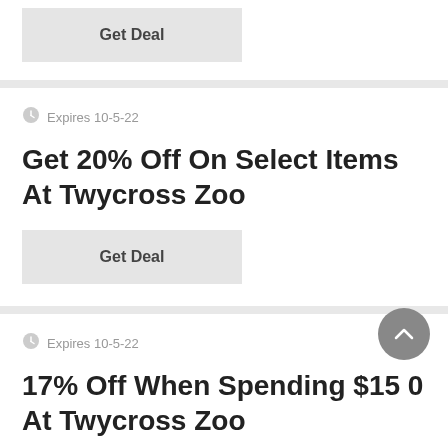Get Deal
Expires 10-5-22
Get 20% Off On Select Items At Twycross Zoo
Get Deal
Expires 10-5-22
17% Off When Spending $15 0 At Twycross Zoo